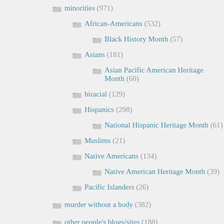minorities (971)
African-Americans (532)
Black History Month (57)
Asians (181)
Asian Pacific American Heritage Month (60)
biracial (129)
Hispanics (298)
National Hispanic Heritage Month (61)
Muslims (21)
Native Americans (134)
Native American Heritage Month (39)
Pacific Islanders (26)
murder without a body (382)
other people's blogs/sites (188)